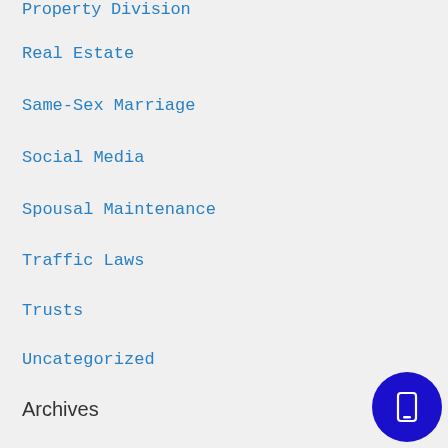Property Division
Real Estate
Same-Sex Marriage
Social Media
Spousal Maintenance
Traffic Laws
Trusts
Uncategorized
Archives
August 2022
July 2022
May 2022
April 2022
March 2022